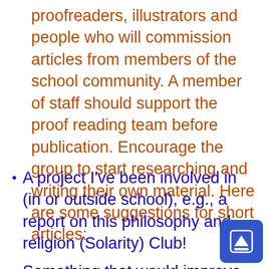proofreaders, illustrators and people who will commission articles from members of the school community. A member of staff should support the proof reading team before publication. Encourage the group to start researching and writing their own material. Here are some suggestions for short articles:
A project I've been involved in (in or outside school), e.g., a report on this philosophy and religion (Solarity) Club!
Something that would improve school life.